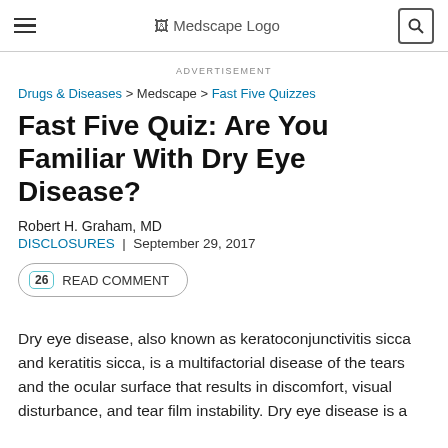Medscape Logo
ADVERTISEMENT
Drugs & Diseases > Medscape > Fast Five Quizzes
Fast Five Quiz: Are You Familiar With Dry Eye Disease?
Robert H. Graham, MD
DISCLOSURES | September 29, 2017
26 READ COMMENT
Dry eye disease, also known as keratoconjunctivitis sicca and keratitis sicca, is a multifactorial disease of the tears and the ocular surface that results in discomfort, visual disturbance, and tear film instability. Dry eye disease is a